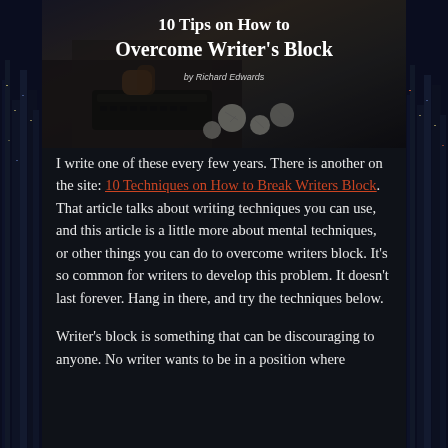[Figure (illustration): Hero image showing a person at a typewriter with crumpled paper balls, with overlay text '10 Tips on How to Overcome Writer's Block' by Richard Edwards]
I write one of these every few years. There is another on the site: 10 Techniques on How to Break Writers Block. That article talks about writing techniques you can use, and this article is a little more about mental techniques, or other things you can do to overcome writers block. It's so common for writers to develop this problem. It doesn't last forever. Hang in there, and try the techniques below.
Writer's block is something that can be discouraging to anyone. No writer wants to be in a position where